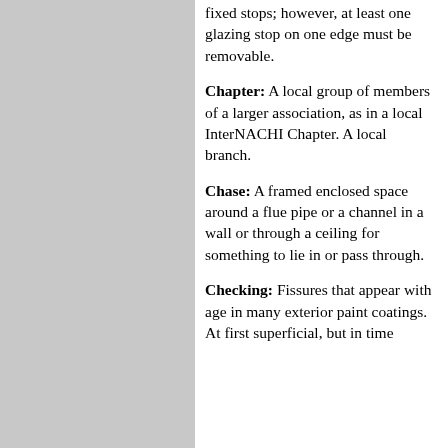fixed stops; however, at least one glazing stop on one edge must be removable.
Chapter: A local group of members of a larger association, as in a local InterNACHI Chapter. A local branch.
Chase: A framed enclosed space around a flue pipe or a channel in a wall or through a ceiling for something to lie in or pass through.
Checking: Fissures that appear with age in many exterior paint coatings. At first superficial, but in time